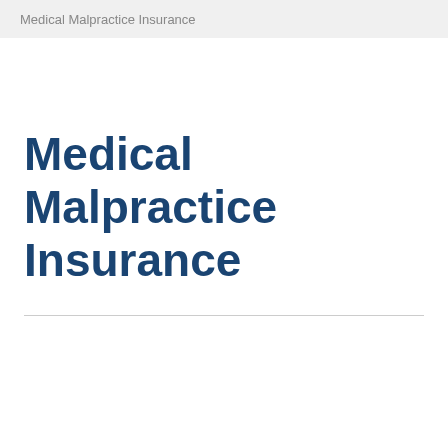Medical Malpractice Insurance
Medical Malpractice Insurance